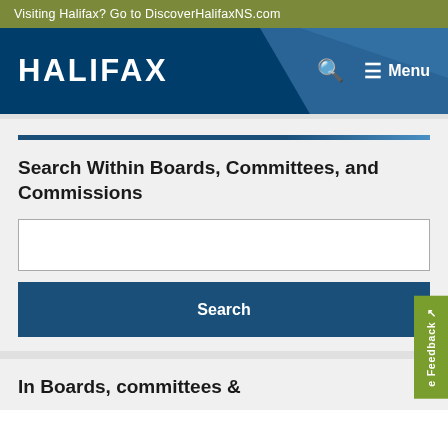Visiting Halifax? Go to DiscoverHalifaxNS.com
[Figure (logo): Halifax municipal government logo with white text on dark navy background header, showing HALIFAX in bold white letters with search and Menu navigation icons]
Search Within Boards, Committees, and Commissions
Search
In Boards, committees &